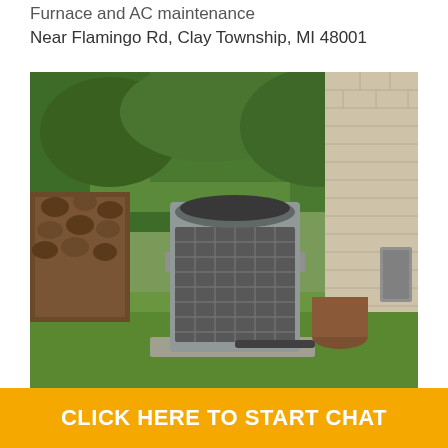Furnace and AC maintenance
Near Flamingo Rd, Clay Township, MI 48001
[Figure (photo): Outdoor AC condenser unit sitting on a concrete pad next to a brick house wall, with green grass and trees/shrubs in the background and a stack of firewood visible on the left. An electrical disconnect box is mounted on the brick wall to the right.]
CLICK HERE TO START CHAT